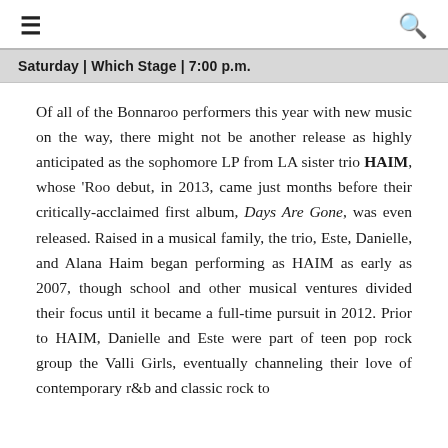≡    🔍
Saturday | Which Stage | 7:00 p.m.
Of all of the Bonnaroo performers this year with new music on the way, there might not be another release as highly anticipated as the sophomore LP from LA sister trio HAIM, whose 'Roo debut, in 2013, came just months before their critically-acclaimed first album, Days Are Gone, was even released. Raised in a musical family, the trio, Este, Danielle, and Alana Haim began performing as HAIM as early as 2007, though school and other musical ventures divided their focus until it became a full-time pursuit in 2012. Prior to HAIM, Danielle and Este were part of teen pop rock group the Valli Girls, eventually channeling their love of contemporary r&b and classic rock to